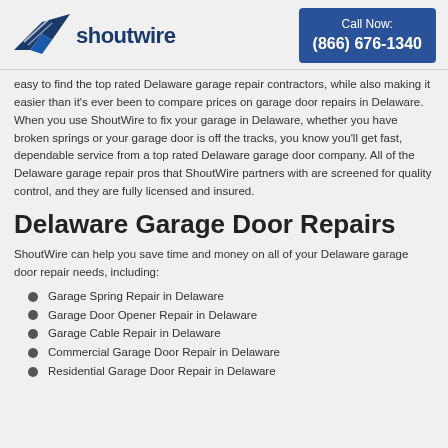[Figure (logo): ShoutWire logo with blue bird/wing icon and company name in dark blue]
Call Now: (866) 676-1340
easy to find the top rated Delaware garage repair contractors, while also making it easier than it's ever been to compare prices on garage door repairs in Delaware. When you use ShoutWire to fix your garage in Delaware, whether you have broken springs or your garage door is off the tracks, you know you'll get fast, dependable service from a top rated Delaware garage door company. All of the Delaware garage repair pros that ShoutWire partners with are screened for quality control, and they are fully licensed and insured.
Delaware Garage Door Repairs
ShoutWire can help you save time and money on all of your Delaware garage door repair needs, including:
Garage Spring Repair in Delaware
Garage Door Opener Repair in Delaware
Garage Cable Repair in Delaware
Commercial Garage Door Repair in Delaware
Residential Garage Door Repair in Delaware